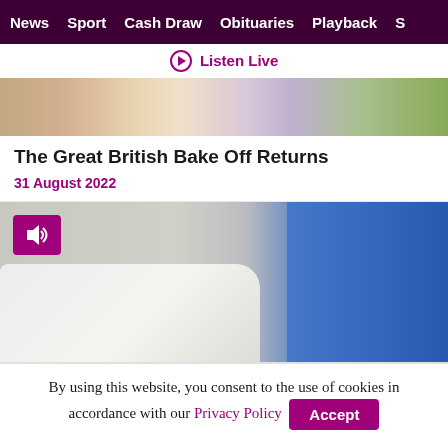News  Sport  Cash Draw  Obituaries  Playback  S
⊙ Listen Live
[Figure (photo): Partial image of Great British Bake Off, showing colorful decorative elements and a person]
The Great British Bake Off Returns
31 August 2022
[Figure (photo): Hospital room with white bed linen and blue privacy curtain, with a sound/audio badge overlay]
By using this website, you consent to the use of cookies in accordance with our Privacy Policy  Accept